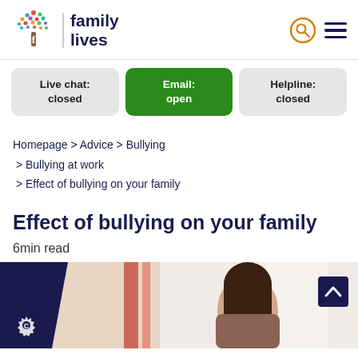[Figure (logo): Family Lives logo with colourful tree and 'family lives' text in dark navy]
Live chat: closed
Email: open
Helpline: closed
Homepage > Advice > Bullying > Bullying at work > Effect of bullying on your family
Effect of bullying on your family
6min read
[Figure (photo): A woman with dark hair seen from behind, sitting in a brightly lit room, partial view of another person]